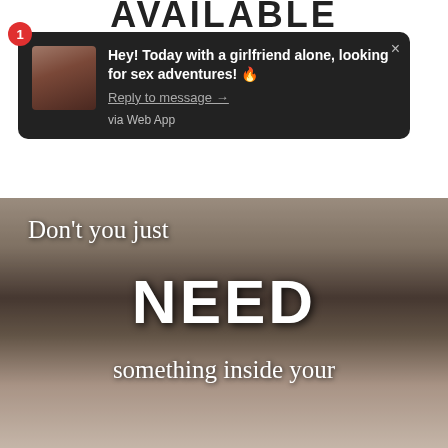[Figure (screenshot): Notification popup on dark background showing spam message: 'Hey! Today with a girlfriend alone, looking for sex adventures! Reply to message → via Web App', with numbered badge 1 and avatar photo]
[Figure (photo): Photo with overlaid text reading: 'Don't you just NEED something inside your']